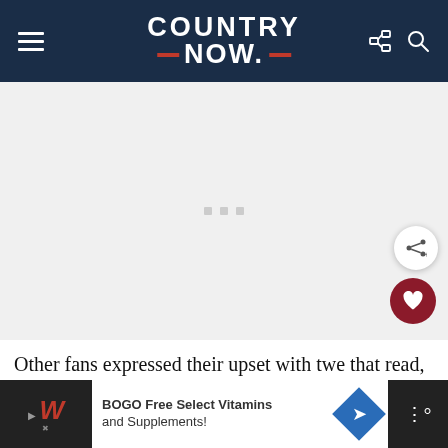COUNTRY NOW
[Figure (photo): Large image placeholder with loading dots, image not loaded]
Other fans expressed their upset with twe that read, "How is it even possible
BOGO Free Select Vitamins and Supplements!